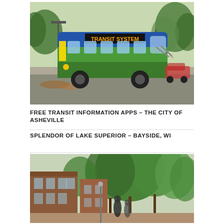[Figure (photo): A green and blue transit bus labeled 'TRANSIT SYSTEM' on a city street, with trees and urban infrastructure in the background.]
FREE TRANSIT INFORMATION APPS – THE CITY OF ASHEVILLE
SPLENDOR OF LAKE SUPERIOR – BAYSIDE, WI
[Figure (photo): People walking on a brick-paved street lined with brick buildings and large green trees.]